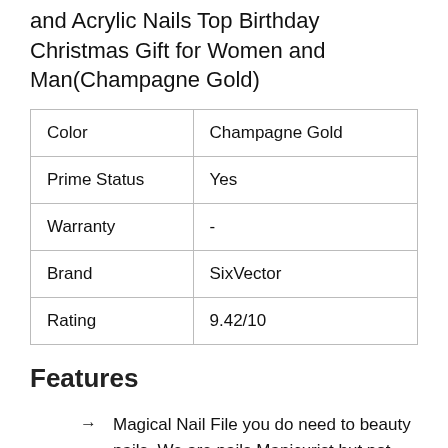and Acrylic Nails Top Birthday Christmas Gift for Women and Man(Champagne Gold)
| Color | Champagne Gold |
| Prime Status | Yes |
| Warranty | - |
| Brand | SixVector |
| Rating | 9.42/10 |
Features
Magical Nail File you do need to beauty nails. We are nails Manicurist but not nail repairman.Japan